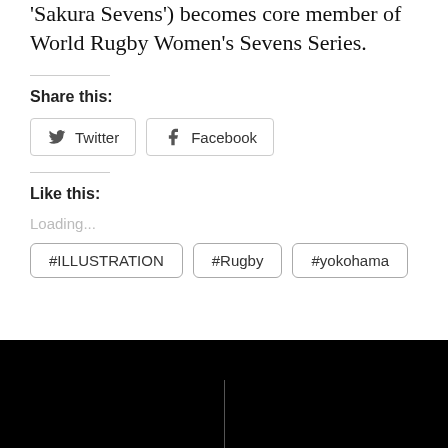'Sakura Sevens') becomes core member of World Rugby Women's Sevens Series.
Share this:
Twitter
Facebook
Like this:
Loading...
#ILLUSTRATION
#Rugby
#yokohama